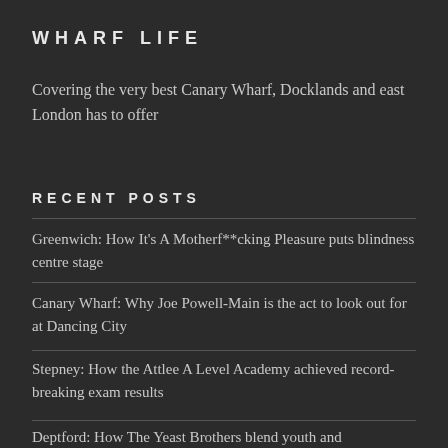WHARF LIFE
Covering the very best Canary Wharf, Docklands and east London has to offer
RECENT POSTS
Greenwich: How It's A Motherf**cking Pleasure puts blindness centre stage
Canary Wharf: Why Joe Powell-Main is the act to look out for at Dancing City
Stepney: How the Attlee A Level Academy achieved record-breaking exam results
Deptford: How The Yeast Brothers blend youth and